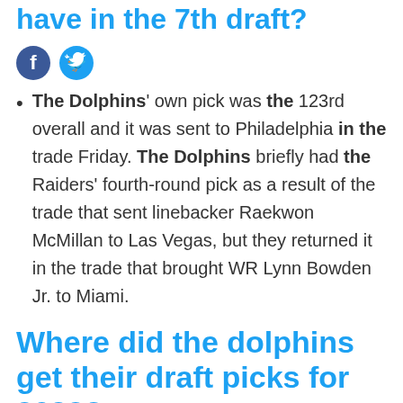have in the 7th draft?
[Figure (other): Facebook and Twitter social share icons]
The Dolphins' own pick was the 123rd overall and it was sent to Philadelphia in the trade Friday. The Dolphins briefly had the Raiders' fourth-round pick as a result of the trade that sent linebacker Raekwon McMillan to Las Vegas, but they returned it in the trade that brought WR Lynn Bowden Jr. to Miami.
Where did the dolphins get their draft picks for 2022?
[Figure (other): Facebook and Twitter social share icons (partially visible)]